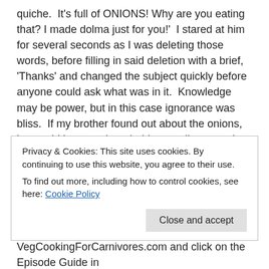quiche.  It's full of ONIONS! Why are you eating that? I made dolma just for you!'  I stared at him for several seconds as I was deleting those words, before filling in said deletion with a brief, 'Thanks' and changed the subject quickly before anyone could ask what was in it.  Knowledge may be power, but in this case ignorance was bliss.  If my brother found out about the onions, he would have re-thought his compliment and stopped eating the quiche.  Not to mention that the bacon topping was fake bacon. Vegetarian food is of no interest to him.
You may or may not know, but I have an online video cooking show called, VEGETARIAN COOKING FOR CARNIVORES. Yes, it's the same name as this blog – but if it ain't broke, don't fix it. (Or
Privacy & Cookies: This site uses cookies. By continuing to use this website, you agree to their use.
To find out more, including how to control cookies, see here: Cookie Policy
VegCookingForCarnivores.com and click on the Episode Guide in